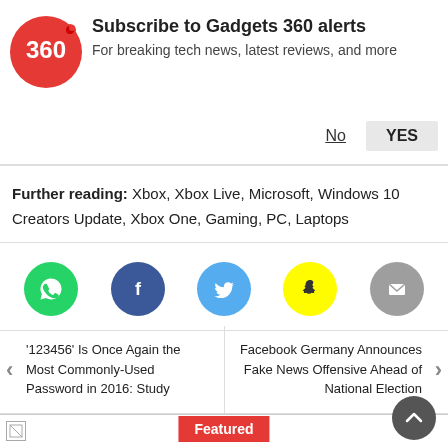[Figure (logo): Gadgets 360 red circle logo with '360' text]
Subscribe to Gadgets 360 alerts
For breaking tech news, latest reviews, and more
No   YES
Further reading: Xbox, Xbox Live, Microsoft, Windows 10 Creators Update, Xbox One, Gaming, PC, Laptops
[Figure (infographic): Social sharing icons: WhatsApp (green), Facebook (dark blue), Twitter (light blue), Snapchat (yellow), Email (grey)]
'123456' Is Once Again the Most Commonly-Used Password in 2016: Study
Facebook Germany Announces Fake News Offensive Ahead of National Election
Featured
[Figure (photo): Featured image placeholder (broken image icon shown)]